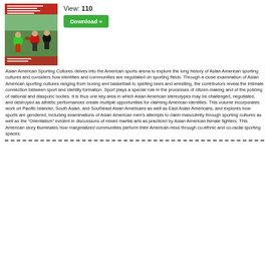[Figure (photo): Book cover for Asian American Sporting Cultures showing athletes playing flag football on a field, with red text overlay at top listing editors names]
View: 110
Download »
Asian American Sporting Cultures delves into the American sports arena to explore the long history of Asian American sporting cultures and considers how identities and communities are negotiated on sporting fields. Through a close examination of Asian American sporting cultures ranging from boxing and basketball to spelling bees and wrestling, the contributors reveal the intimate connection between sport and identity formation. Sport plays a special role in the processes of citizen-making and of the policing of national and diasporic bodies. It is thus one key area in which Asian American stereotypes may be challenged, negotiated, and destroyed as athletic performances create multiple opportunities for claiming American identities. This volume incorporates work on Pacific Islander, South Asian, and Southeast Asian Americans as well as East Asian Americans, and explores how sports are gendered, including examinations of Asian American men's attempts to claim masculinity through sporting cultures as well as the “Orientalism” evident in discussions of mixed martial arts as practiced by Asian American female fighters. This American story illuminates how marginalized communities perform their American-ness through co-ethnic and co-racial sporting spaces.